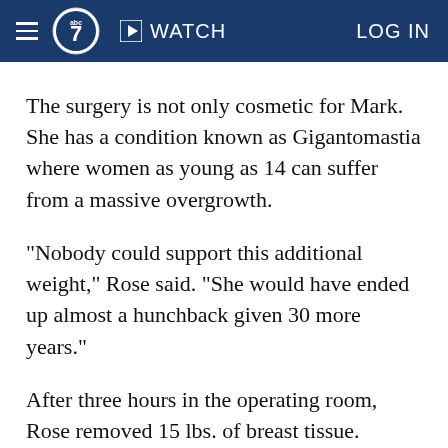abc7 | WATCH | LOG IN
The surgery is not only cosmetic for Mark. She has a condition known as Gigantomastia where women as young as 14 can suffer from a massive overgrowth.
"Nobody could support this additional weight," Rose said. "She would have ended up almost a hunchback given 30 more years."
After three hours in the operating room, Rose removed 15 lbs. of breast tissue.